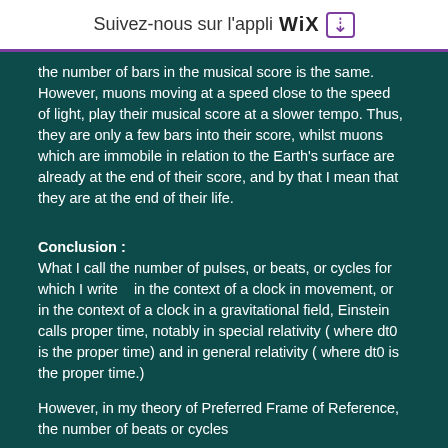Suivez-nous sur l'appli WiX ↓
the number of bars in the musical score is the same. However, muons moving at a speed close to the speed of light, play their musical score at a slower tempo. Thus, they are only a few bars into their score, whilst muons which are immobile in relation to the Earth's surface are already at the end of their score, and by that I mean that they are at the end of their life.
Conclusion :
What I call the number of pulses, or beats, or cycles for which I write    in the context of a clock in movement, or    in the context of a clock in a gravitational field, Einstein calls proper time, notably in special relativity ( where dt0 is the proper time) and in general relativity ( where dt0 is the proper time.)
However, in my theory of Preferred Frame of Reference, the number of beats or cycles